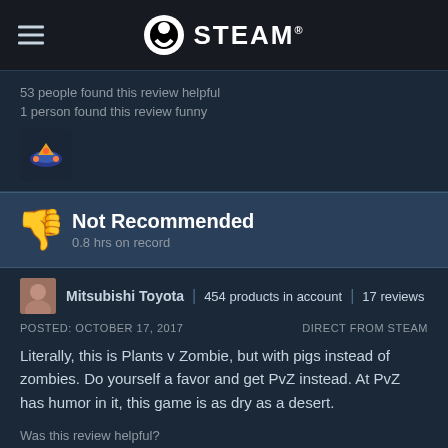STEAM
53 people found this review helpful
1 person found this review funny
[Figure (screenshot): Game icon showing a colorful submarine/spaceship on dark background]
Not Recommended
0.8 hrs on record
Mitsubishi Toyota | 454 products in account | 17 reviews
POSTED: OCTOBER 17, 2017   DIRECT FROM STEAM
Literally, this is Plants v Zombie, but with pigs instead of zombies. Do yourself a favor and get PvZ instead. At PvZ has humor in it, this game is as dry as a desert.
Was this review helpful?